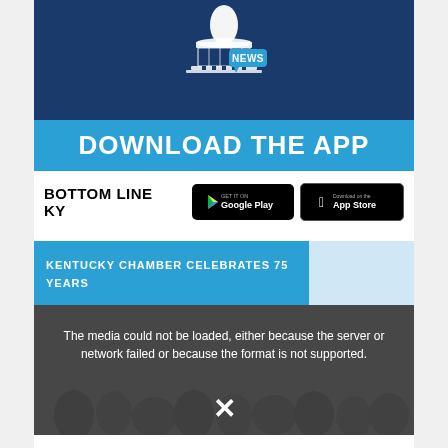[Figure (logo): Capitol building icon with NEWS speech bubble badge on dark blue background]
DOWNLOAD THE APP
BOTTOM LINE KY
[Figure (logo): Google Play store download button]
[Figure (logo): Apple App Store download button]
KENTUCKY CHAMBER CELEBRATES 75 YEARS
The media could not be loaded, either because the server or network failed or because the format is not supported.